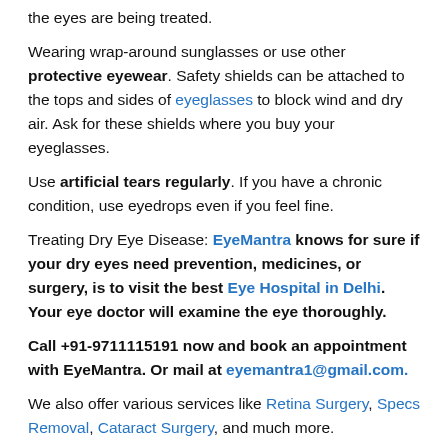the eyes are being treated.
Wearing wrap-around sunglasses or use other protective eyewear. Safety shields can be attached to the tops and sides of eyeglasses to block wind and dry air. Ask for these shields where you buy your eyeglasses.
Use artificial tears regularly. If you have a chronic condition, use eyedrops even if you feel fine.
Treating Dry Eye Disease: EyeMantra knows for sure if your dry eyes need prevention, medicines, or surgery, is to visit the best Eye Hospital in Delhi. Your eye doctor will examine the eye thoroughly.
Call +91-9711115191 now and book an appointment with EyeMantra. Or mail at eyemantra1@gmail.com.
We also offer various services like Retina Surgery, Specs Removal, Cataract Surgery, and much more.